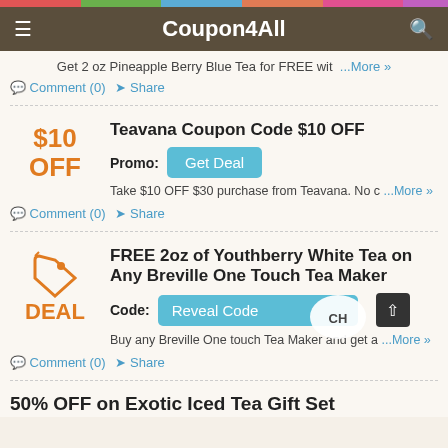Coupon4All
Get 2 oz Pineapple Berry Blue Tea for FREE wit ...More »
Comment (0)   Share
Teavana Coupon Code $10 OFF
Promo: Get Deal
Take $10 OFF $30 purchase from Teavana. No c ...More »
Comment (0)   Share
FREE 2oz of Youthberry White Tea on Any Breville One Touch Tea Maker
Code: Reveal Code
Buy any Breville One touch Tea Maker and get a ...More »
Comment (0)   Share
50% OFF on Exotic Iced Tea Gift Set